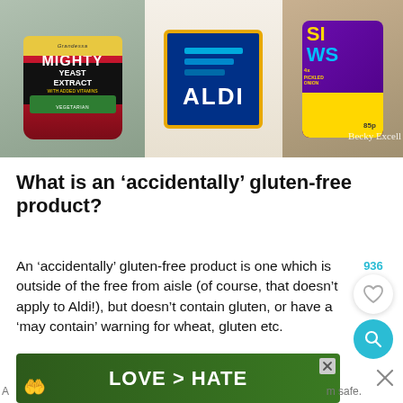[Figure (photo): Collage of grocery products: Grandessa Mighty Yeast Extract jar on left, Aldi logo in center, purple snack bags on right with 'Becky Excell' watermark]
What is an ‘accidentally’ gluten-free product?
An ‘accidentally’ gluten-free product is one which is outside of the free from aisle (of course, that doesn’t apply to Aldi!), but doesn’t contain gluten, or have a ‘may contain’ warning for wheat, gluten etc.
[Figure (photo): Advertisement banner: hands forming heart shape, text 'LOVE > HATE']